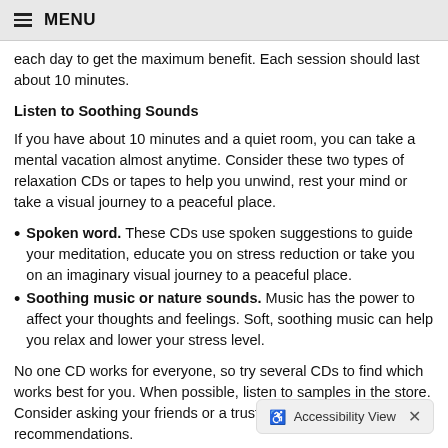MENU
each day to get the maximum benefit. Each session should last about 10 minutes.
Listen to Soothing Sounds
If you have about 10 minutes and a quiet room, you can take a mental vacation almost anytime. Consider these two types of relaxation CDs or tapes to help you unwind, rest your mind or take a visual journey to a peaceful place.
Spoken word. These CDs use spoken suggestions to guide your meditation, educate you on stress reduction or take you on an imaginary visual journey to a peaceful place.
Soothing music or nature sounds. Music has the power to affect your thoughts and feelings. Soft, soothing music can help you relax and lower your stress level.
No one CD works for everyone, so try several CDs to find which works best for you. When possible, listen to samples in the store. Consider asking your friends or a trusted professional for recommendations.
Accessibility View